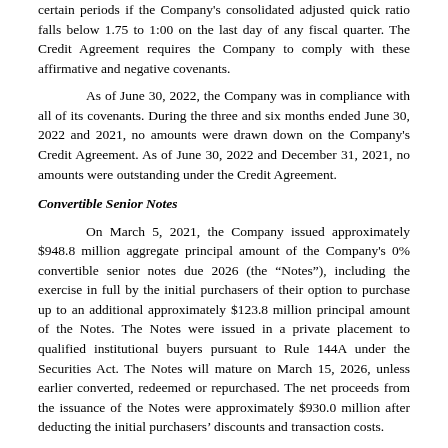certain periods if the Company's consolidated adjusted quick ratio falls below 1.75 to 1:00 on the last day of any fiscal quarter. The Credit Agreement requires the Company to comply with these affirmative and negative covenants.
As of June 30, 2022, the Company was in compliance with all of its covenants. During the three and six months ended June 30, 2022 and 2021, no amounts were drawn down on the Company's Credit Agreement. As of June 30, 2022 and December 31, 2021, no amounts were outstanding under the Credit Agreement.
Convertible Senior Notes
On March 5, 2021, the Company issued approximately $948.8 million aggregate principal amount of the Company's 0% convertible senior notes due 2026 (the “Notes”), including the exercise in full by the initial purchasers of their option to purchase up to an additional approximately $123.8 million principal amount of the Notes. The Notes were issued in a private placement to qualified institutional buyers pursuant to Rule 144A under the Securities Act. The Notes will mature on March 15, 2026, unless earlier converted, redeemed or repurchased. The net proceeds from the issuance of the Notes were approximately $930.0 million after deducting the initial purchasers’ discounts and transaction costs.
The Company may not redeem the Notes prior to March 20, 2024. On or after March 20, 2024, the Company may redeem for cash, all or any